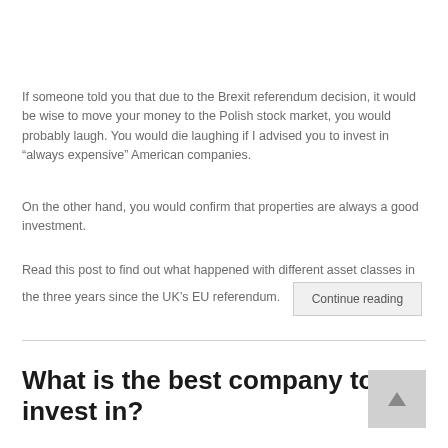If someone told you that due to the Brexit referendum decision, it would be wise to move your money to the Polish stock market, you would probably laugh. You would die laughing if I advised you to invest in “always expensive” American companies.
On the other hand, you would confirm that properties are always a good investment.
Read this post to find out what happened with different asset classes in the three years since the UK’s EU referendum.
What is the best company to invest in?